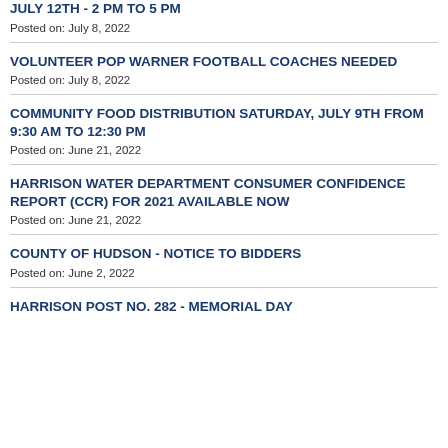JULY 12TH - 2 PM TO 5 PM
Posted on: July 8, 2022
VOLUNTEER POP WARNER FOOTBALL COACHES NEEDED
Posted on: July 8, 2022
COMMUNITY FOOD DISTRIBUTION SATURDAY, JULY 9TH FROM 9:30 AM TO 12:30 PM
Posted on: June 21, 2022
HARRISON WATER DEPARTMENT CONSUMER CONFIDENCE REPORT (CCR) FOR 2021 AVAILABLE NOW
Posted on: June 21, 2022
COUNTY OF HUDSON - NOTICE TO BIDDERS
Posted on: June 2, 2022
HARRISON POST NO. 282 - MEMORIAL DAY